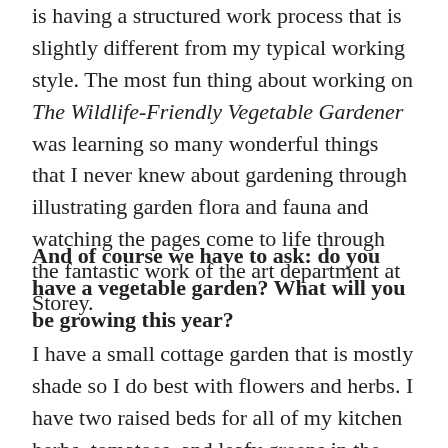is having a structured work process that is slightly different from my typical working style. The most fun thing about working on The Wildlife-Friendly Vegetable Gardener was learning so many wonderful things that I never knew about gardening through illustrating garden flora and fauna and watching the pages come to life through the fantastic work of the art department at Storey.
And of course we have to ask: do you have a vegetable garden? What will you be growing this year?
I have a small cottage garden that is mostly shade so I do best with flowers and herbs. I have two raised beds for all of my kitchen herbs, tomatoes, and leafy greens in the spring. I dream of having a bigger vegetable garden someday.